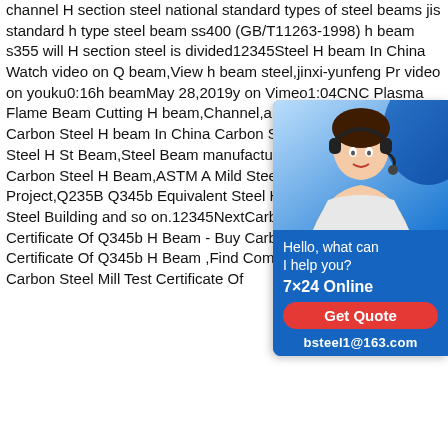channel H section steel national standard types of steel beams jis standard h type steel beam ss400 (GB/T11263-1998) h beam s355 will H section steel is divided12345Steel H beam In China Watch video on Q beam,View h beam steel,jinxi-yunfeng Pr video on youku0:16h beamMay 28,2019y on Vimeo1:04CNC Plasma Flame Beam Cutting H beam,Channel,angle s36 views videos of Carbon Steel H beam In China Carbon Steel H Beam - China Steel H St Beam,Steel Beam manufacturer / supplie Standard Carbon Steel H Beam,ASTM A Mild Steel Plate for Building Project,Q235B Q345b Equivalent Steel H Beam for Structural Steel Building and so on.12345NextCarbon Steel Mill Test Certificate Of Q345b H Beam - Buy Carbon Steel Mill Test Certificate Of Q345b H Beam ,Find Complete Details about Carbon Steel Mill Test Certificate Of
[Figure (photo): Customer service advertisement widget showing a woman wearing a headset with blue background. Contains text: 'Hello, what can I help you?', '7×24 Online', 'Get Quote' button in red, and 'bsteel1@163.com']